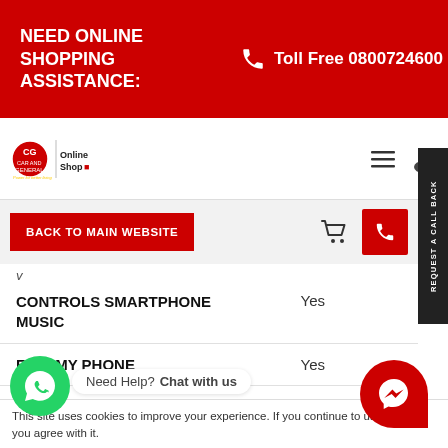NEED ONLINE SHOPPING ASSISTANCE: Toll Free 0800724600
[Figure (screenshot): Car and General Online Shop logo with hamburger menu and user icon]
BACK TO MAIN WEBSITE
REQUEST A CALL BACK
| Feature | Value |
| --- | --- |
| CONTROLS SMARTPHONE MUSIC | Yes |
| FIND MY PHONE | Yes |
Need Help? Chat with us
This site uses cookies to improve your experience. If you continue to use this site, you agree with it.